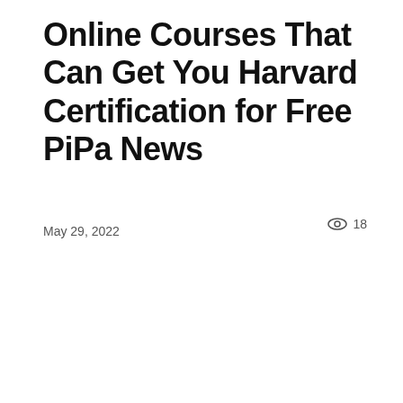Online Courses That Can Get You Harvard Certification for Free PiPa News
May 29, 2022
18